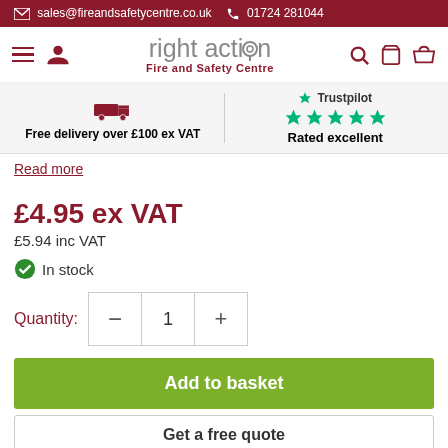sales@fireandsafetycentre.co.uk  01724 281044
[Figure (logo): Right Action Fire and Safety Centre logo with navigation icons]
[Figure (infographic): Free delivery over £100 ex VAT banner with delivery truck icon | Trustpilot rated excellent with 5 stars]
Read more
£4.95 ex VAT
£5.94 inc VAT
In stock
Quantity: 1
Add to basket
Get a free quote